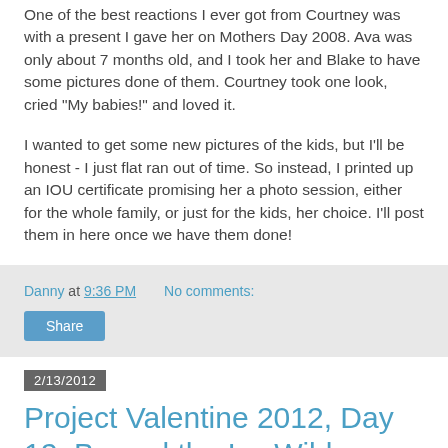One of the best reactions I ever got from Courtney was with a present I gave her on Mothers Day 2008. Ava was only about 7 months old, and I took her and Blake to have some pictures done of them. Courtney took one look, cried "My babies!" and loved it.
I wanted to get some new pictures of the kids, but I'll be honest - I just flat ran out of time. So instead, I printed up an IOU certificate promising her a photo session, either for the whole family, or just for the kids, her choice. I'll post them in here once we have them done!
Danny at 9:36 PM   No comments:
Share
2/13/2012
Project Valentine 2012, Day 12: Braved the Icy Wilds
Sunday's thing ended up being kind of a punt. See, when I